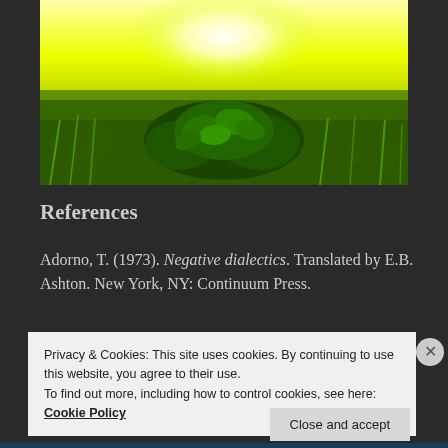[Figure (photo): A scenic photograph of green clover plants and grass in a field with a bright yellow-white glowing sky/horizon in the background, high color saturation with vivid green tones.]
References
Adorno, T. (1973). Negative dialectics. Translated by E.B. Ashton. New York, NY: Continuum Press.
Privacy & Cookies: This site uses cookies. By continuing to use this website, you agree to their use.
To find out more, including how to control cookies, see here:
Cookie Policy
Close and accept